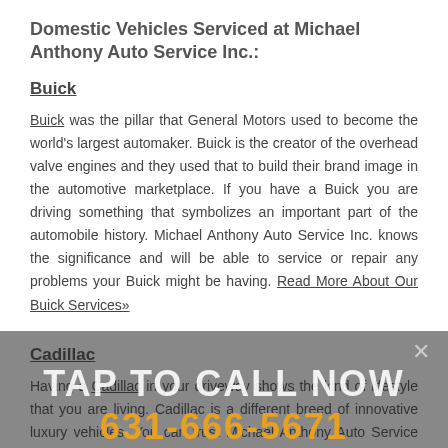Domestic Vehicles Serviced at Michael Anthony Auto Service Inc.:
Buick
Buick was the pillar that General Motors used to become the world's largest automaker. Buick is the creator of the overhead valve engines and they used that to build their brand image in the automotive marketplace. If you have a Buick you are driving something that symbolizes an important part of the automobile history. Michael Anthony Auto Service Inc. knows the significance and will be able to service or repair any problems your Buick might be having. Read More About Our Buick Services»
Cadillac
Having a Cadillac in your driveway shows the kind of lifestyle that you are living. Cadillac is a different breed of innovative luxury vehicles. You can trust Michael Anthony Auto Service Inc. with your Cadillac because they have